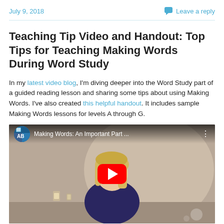July 9, 2018   Leave a reply
Teaching Tip Video and Handout: Top Tips for Teaching Making Words During Word Study
In my latest video blog, I'm diving deeper into the Word Study part of a guided reading lesson and sharing some tips about using Making Words. I've also created this helpful handout. It includes sample Making Words lessons for levels A through G.
[Figure (screenshot): YouTube video thumbnail showing a blonde woman in a room, with video title 'Making Words: An Important Part ...' and a red YouTube play button overlay.]